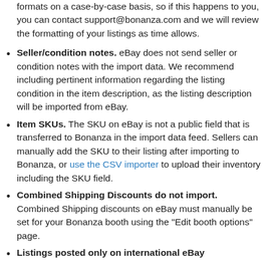formats on a case-by-case basis, so if this happens to you, you can contact support@bonanza.com and we will review the formatting of your listings as time allows.
Seller/condition notes. eBay does not send seller or condition notes with the import data. We recommend including pertinent information regarding the listing condition in the item description, as the listing description will be imported from eBay.
Item SKUs. The SKU on eBay is not a public field that is transferred to Bonanza in the import data feed. Sellers can manually add the SKU to their listing after importing to Bonanza, or use the CSV importer to upload their inventory including the SKU field.
Combined Shipping Discounts do not import. Combined Shipping discounts on eBay must manually be set for your Bonanza booth using the "Edit booth options" page.
Listings posted only on international eBay